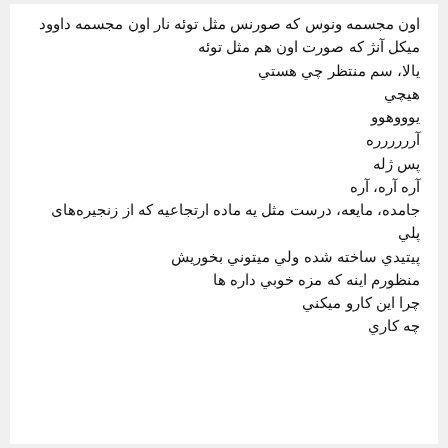اون مجسمه ونوس که صورنس مثل توئه نار اون مجسمه داوود
میکل آنژ که صورت اون هم مثل توئه
یالا، سم منتظر چي هستي
هيچي
یوووهوو
آرررررره
پس ژله
آره آره، آره
جامده، مایعه، درست مثل یه ماده ارتجاعیه که از زنجیره‌های پلي
پیتیدي ساخته شده ولي میتوني بخوریش
منظورم اینه که مزه خوبي داره ها
چرا این کارو میکني
چه کاري